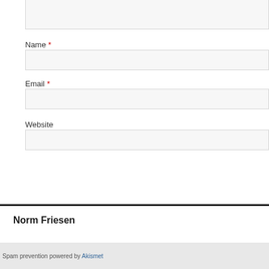Name *
Email *
Website
Post Comment
Norm Friesen
Spam prevention powered by Akismet